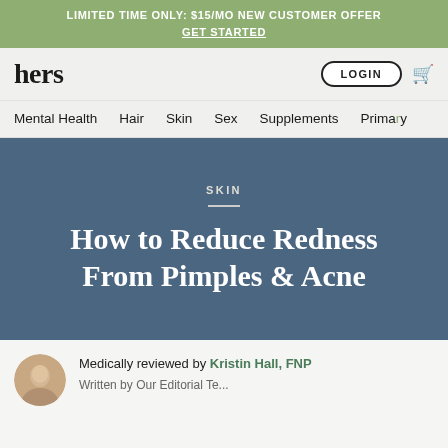LIMITED TIME ONLY: $15/MO NEW CUSTOMER OFFER
GET STARTED
[Figure (logo): Hers brand logo wordmark]
Mental Health  Hair  Skin  Sex  Supplements  Primary
SKIN
How to Reduce Redness From Pimples & Acne
Medically reviewed by Kristin Hall, FNP